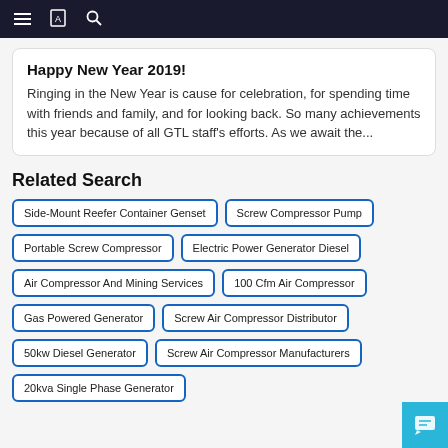≡ 📋 🔍
Happy New Year 2019!
Ringing in the New Year is cause for celebration, for spending time with friends and family, and for looking back. So many achievements this year because of all GTL staff's efforts. As we await the...
Related Search
Side-Mount Reefer Container Genset
Screw Compressor Pump
Portable Screw Compressor
Electric Power Generator Diesel
Air Compressor And Mining Services
100 Cfm Air Compressor
Gas Powered Generator
Screw Air Compressor Distributor
50kw Diesel Generator
Screw Air Compressor Manufacturers
20kva Single Phase Generator